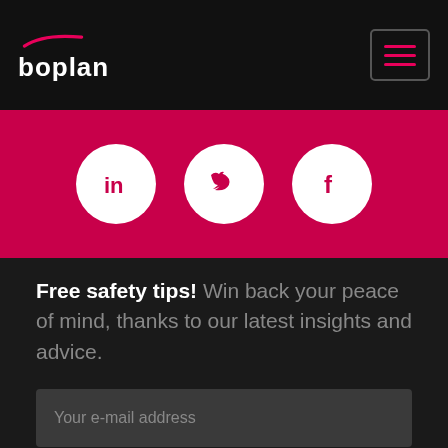boplan
[Figure (infographic): Social media icons (LinkedIn, Twitter, Facebook) as white circles on pink background]
Free safety tips! Win back your peace of mind, thanks to our latest insights and advice.
Your e-mail address
SUBSCRIBE